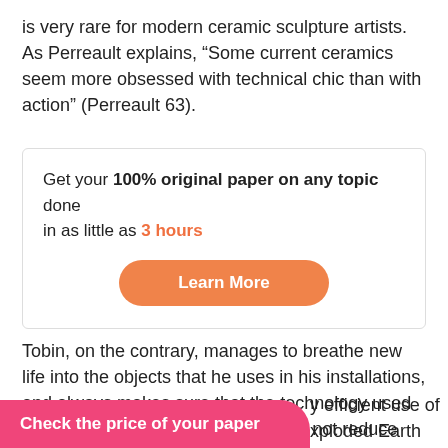is very rare for modern ceramic sculpture artists. As Perreault explains, “Some current ceramics seem more obsessed with technical chic than with action” (Perreault 63).
Get your 100% original paper on any topic done
in as little as 3 hours
[Learn More]
Tobin, on the contrary, manages to breathe new life into the objects that he uses in his installations, and always makes sure that the technology used in the process of art creation should not reduce the significance of the idea behind the artworks.
Check the price of your paper
efficient use of
xploded Earth